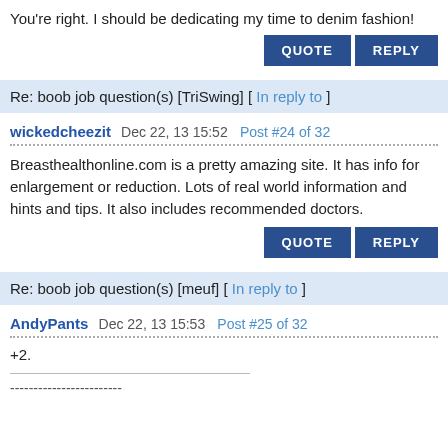You're right. I should be dedicating my time to denim fashion!
QUOTE   REPLY
Re: boob job question(s) [TriSwing] [ In reply to ]
wickedcheezit  Dec 22, 13 15:52  Post #24 of 32
Breasthealthonline.com is a pretty amazing site. It has info for enlargement or reduction. Lots of real world information and hints and tips. It also includes recommended doctors.
QUOTE   REPLY
Re: boob job question(s) [meuf] [ In reply to ]
AndyPants  Dec 22, 13 15:53  Post #25 of 32
+2.
------------------------